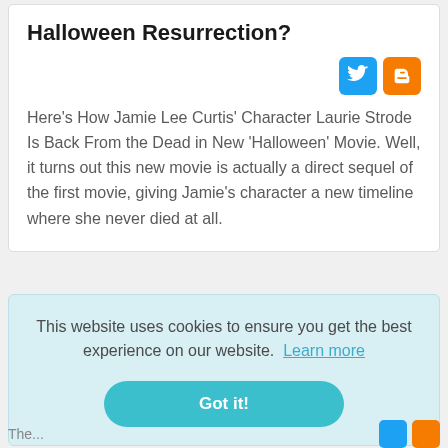Halloween Resurrection?
[Figure (logo): Twitter and Blogger social share icons]
Here's How Jamie Lee Curtis' Character Laurie Strode Is Back From the Dead in New 'Halloween' Movie. Well, it turns out this new movie is actually a direct sequel of the first movie, giving Jamie's character a new timeline where she never died at all.
This website uses cookies to ensure you get the best experience on our website. Learn more
Got it!
The...